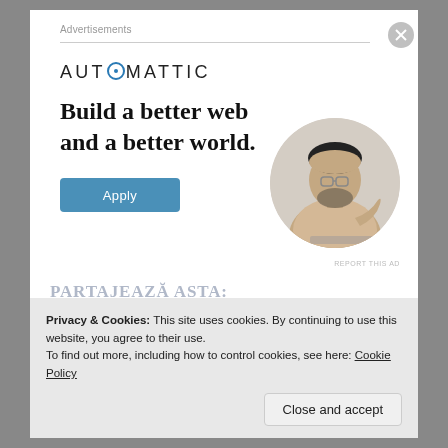Advertisements
[Figure (logo): Automattic logo with stylized letter O containing a dot, uppercase sans-serif text]
Build a better web and a better world.
[Figure (illustration): Circular portrait of a person (man with glasses and beard) sitting at a desk, thinking with hand on chin]
Apply
REPORT THIS AD
PARTAJEAZĂ ASTA:
Privacy & Cookies: This site uses cookies. By continuing to use this website, you agree to their use.
To find out more, including how to control cookies, see here: Cookie Policy
Close and accept